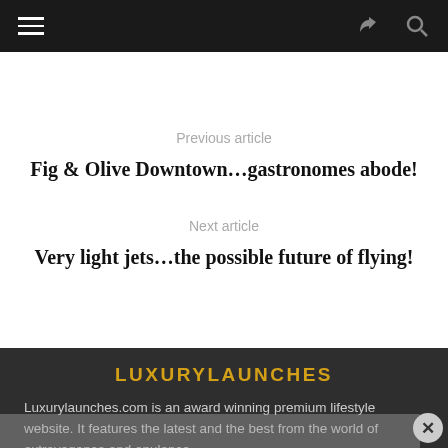Previous article
Fig & Olive Downtown…gastronomes abode!
Next article
Very light jets…the possible future of flying!
LUXURYLAUNCHES
Luxurylaunches.com is an award winning premium lifestyle website. It features the latest and the best from the world of extravagance and opulence.